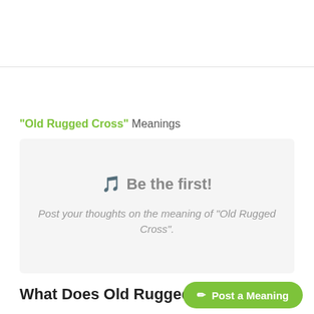"Old Rugged Cross" Meanings
🎵 Be the first!
Post your thoughts on the meaning of "Old Rugged Cross".
What Does Old Rugged Cross Mean?
✏ Post a Meaning